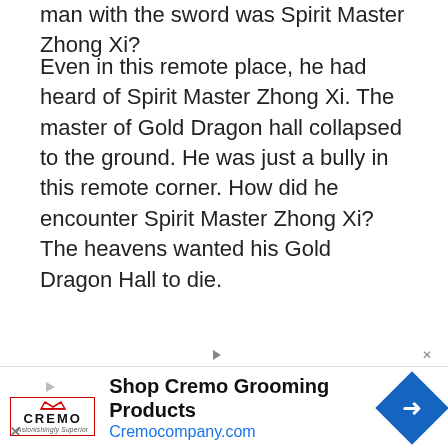man with the sword was Spirit Master Zhong Xi?
Even in this remote place, he had heard of Spirit Master Zhong Xi. The master of Gold Dragon hall collapsed to the ground. He was just a bully in this remote corner. How did he encounter Spirit Master Zhong Xi? The heavens wanted his Gold Dragon Hall to die.
[Figure (photo): Food advertisement showing fried chicken pieces on a plate with a dipping sauce and bread rolls in the background, on a light blue wooden surface.]
[Figure (photo): Cremo Grooming Products advertisement banner with Cremo logo, text 'Shop Cremo Grooming Products' and 'Cremocompany.com', and a blue diamond navigation arrow icon.]